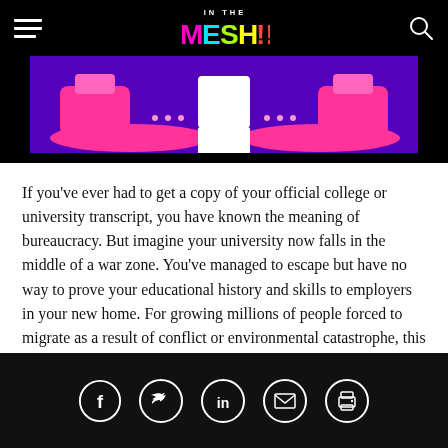IN THE MESH
[Figure (illustration): Colorful illustration on purple/blue background showing a bookmark or certificate icon with pink decorative elements and dots]
If you've ever had to get a copy of your official college or university transcript, you have known the meaning of bureaucracy. But imagine your university now falls in the middle of a war zone. You've managed to escape but have no way to prove your educational history and skills to employers in your new home. For growing millions of people forced to migrate as a result of conflict or environmental catastrophe, this scenario is very
Social sharing icons: Facebook, Twitter, LinkedIn, Email, Print